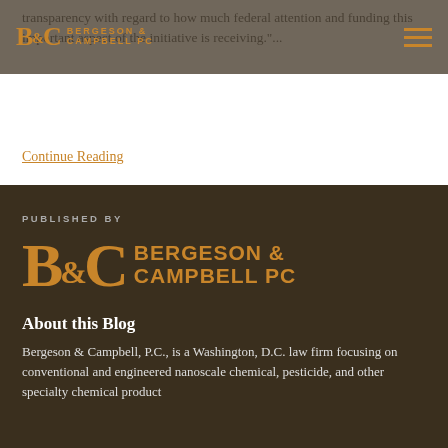Bergeson & Campbell PC — navigation header
transparency with regard to how much federal attention and funding this important aspect of the initiative is receiving."...
Continue Reading
PUBLISHED BY
[Figure (logo): Bergeson & Campbell PC logo — large orange BC monogram with company name]
About this Blog
Bergeson & Campbell, P.C., is a Washington, D.C. law firm focusing on conventional and engineered nanoscale chemical, pesticide, and other specialty chemical product